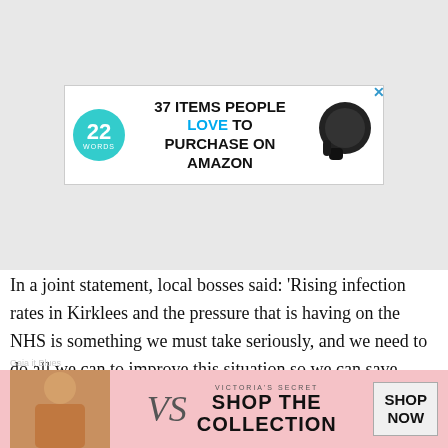[Figure (screenshot): Advertisement banner: '22 Words' logo circle in teal, bold text '37 ITEMS PEOPLE LOVE TO PURCHASE ON AMAZON' with 'LOVE' in blue, headphones image on right, close X button top right]
In a joint statement, local bosses said: 'Rising infection rates in Kirklees and the pressure that is having on the NHS is something we must take seriously, and we need to do all we can to improve this situation so we can save lives. However, we do not believe Tier Three restrictions are the best w...
[Figure (screenshot): Victoria's Secret advertisement banner at bottom with pink background, VS logo, 'SHOP THE COLLECTION' text, 'SHOP NOW' button, and model photo. CLOSE button overlay.]